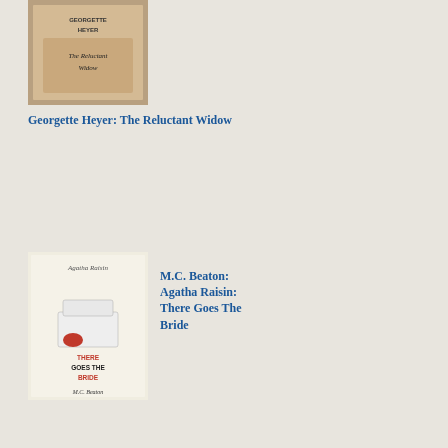[Figure (illustration): Book cover for Georgette Heyer: The Reluctant Widow]
Georgette Heyer: The Reluctant Widow
[Figure (illustration): Book cover for M.C. Beaton: Agatha Raisin: There Goes The Bride]
M.C. Beaton: Agatha Raisin: There Goes The Bride
[Figure (illustration): Book cover for Marghanita Laski: To Bed with Grand Music]
Marghanita Laski: To Bed with Grand Music
[Figure (illustration): Book cover for Carola Dunn: The ...]
Carola Dunn: The
ma
his
det
div
her
life
in
Par
her
trav
her
frie
with
Her
Jan
her
pas
lov
aff
with
the
unt
and